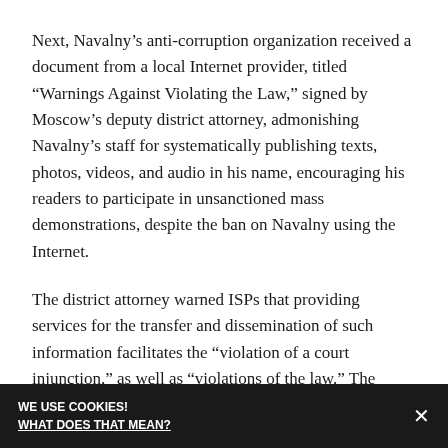Next, Navalny’s anti-corruption organization received a document from a local Internet provider, titled “Warnings Against Violating the Law,” signed by Moscow’s deputy district attorney, admonishing Navalny’s staff for systematically publishing texts, photos, videos, and audio in his name, encouraging his readers to participate in unsanctioned mass demonstrations, despite the ban on Navalny using the Internet.
The district attorney warned ISPs that providing services for the transfer and dissemination of such information facilitates the “violation of a court injunction,” as well as “violations of the law.” The state’s position was clear: it considered any promotion of Navalny’s blog to be illegal. The document was also sent to Afisha-Rambler-SUP, which owns LiveJournal
WE USE COOKIES! WHAT DOES THAT MEAN?